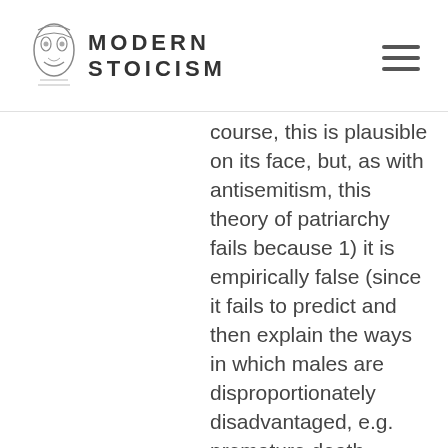MODERN STOICISM
course, this is plausible on its face, but, as with antisemitism, this theory of patriarchy fails because 1) it is empirically false (since it fails to predict and then explain the ways in which males are disproportionately disadvantaged, e.g. premature death, suicide, military conscription, substance addiction, workplace injuries, and incarceration) and 2) because it is pseudoscientific (since it is not falsifiable, i.e. under what conditions could a particular group